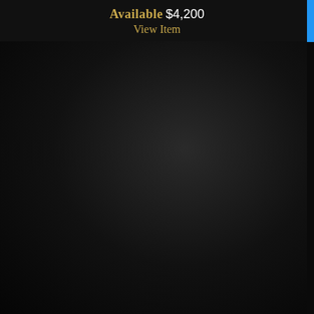Available $4,200
View Item
[Figure (photo): Two antique gold drop earrings with teardrop-shaped turquoise cabochon stones surrounded by a halo of old-cut white diamonds/crystals, photographed on a dark background. The earrings have gold lever-back hooks with a small diamond accent above the main cluster setting.]